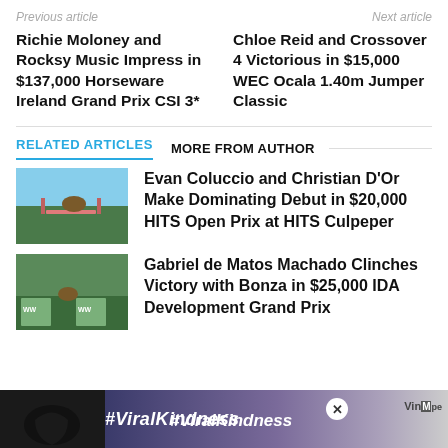Previous article    Next article
Richie Moloney and Rocksy Music Impress in $137,000 Horseware Ireland Grand Prix CSI 3*
Chloe Reid and Crossover 4 Victorious in $15,000 WEC Ocala 1.40m Jumper Classic
RELATED ARTICLES   MORE FROM AUTHOR
[Figure (photo): Horse and rider jumping at equestrian competition]
Evan Coluccio and Christian D’Or Make Dominating Debut in $20,000 HITS Open Prix at HITS Culpeper
[Figure (photo): Horse and rider at equestrian event with WW banners]
Gabriel de Matos Machado Clinches Victory with Bonza in $25,000 IDA Development Grand Prix
[Figure (infographic): Advertisement banner with #ViralKindness text, hands forming heart shape]